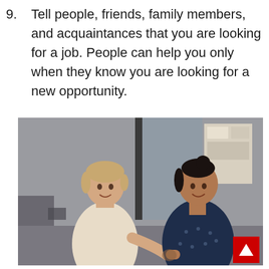9. Tell people, friends, family members, and acquaintances that you are looking for a job. People can help you only when they know you are looking for a new opportunity.
[Figure (photo): Two women greeting each other with an elbow bump in an office setting. One woman has short light hair and wears a cream turtleneck sweater; the other has dark hair in a bun and wears a navy blue polka-dot blouse. They are both smiling. Background shows office furniture, glass partition, and bulletin boards.]